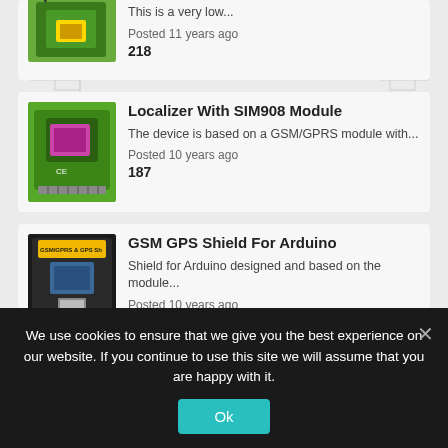[Figure (photo): Partial card showing a GSM module on green PCB with antenna, partially visible at top]
This is a very low...
Posted 11 years ago
218
Localizer With SIM908 Module
[Figure (photo): SIM908 GSM/GPRS module on green PCB with CE marking]
The device is based on a GSM/GPRS module with...
Posted 10 years ago
187
GSM GPS Shield For Arduino
[Figure (photo): GSM/GPRS & GPS Shield for Arduino board with SIM card slot and yellow label]
Shield for Arduino designed and based on the module...
Posted 10 years ago
We use cookies to ensure that we give you the best experience on our website. If you continue to use this site we will assume that you are happy with it.